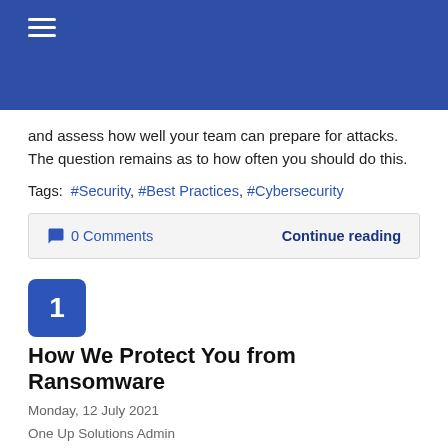Navigation header with hamburger menu
and assess how well your team can prepare for attacks. The question remains as to how often you should do this.
Tags: #Security, #Best Practices, #Cybersecurity
💬 0 Comments   Continue reading
How We Protect You from Ransomware
Monday, 12 July 2021
One Up Solutions Admin
One Up Solutions Northwest Blog, Security
[Figure (photo): Dark background image with red text, appears to be a ransomware screenshot]